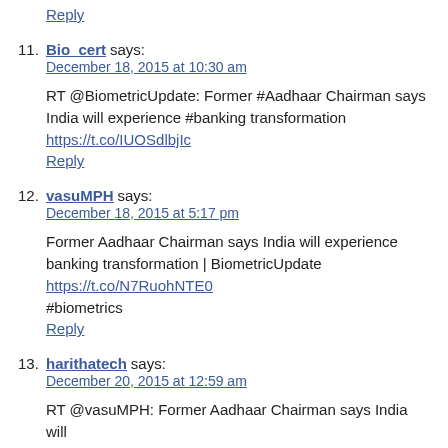Reply (top)
11. Bio_cert says:
December 18, 2015 at 10:30 am

RT @BiometricUpdate: Former #Aadhaar Chairman says India will experience #banking transformation https://t.co/IUOSdlbjIc
Reply
12. vasuMPH says:
December 18, 2015 at 5:17 pm

Former Aadhaar Chairman says India will experience banking transformation | BiometricUpdate https://t.co/N7RuohNTE0 #biometrics
Reply
13. harithatech says:
December 20, 2015 at 12:59 am

RT @vasuMPH: Former Aadhaar Chairman says India will